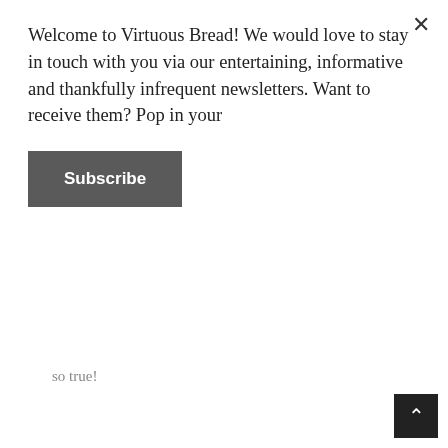Welcome to Virtuous Bread! We would love to stay in touch with you via our entertaining, informative and thankfully infrequent newsletters. Want to receive them? Pop in your
Subscribe
so true!
EDWARD BLACKSMITH
JANUARY 25, 2014 AT 1:12 AM
Do you know why crosses were cut in bread at least in the UK? You are most likely wrong it is very old and was to stop the real